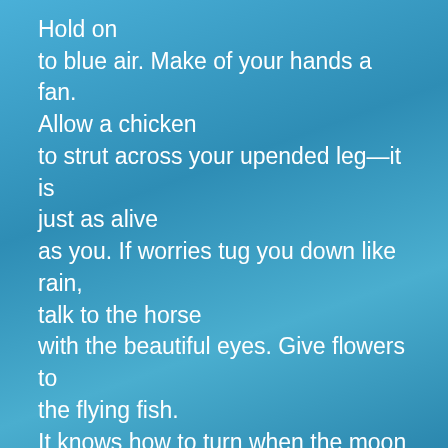Hold on
to blue air. Make of your hands a fan.
Allow a chicken
to strut across your upended leg—it is just as alive
as you. If worries tug you down like rain,
talk to the horse
with the beautiful eyes. Give flowers to the flying fish.
It knows how to turn when the moon passes in front of the sun.
4
The trolley runs upside-down because memory works that way.
Looking out the window, you see a beautiful city